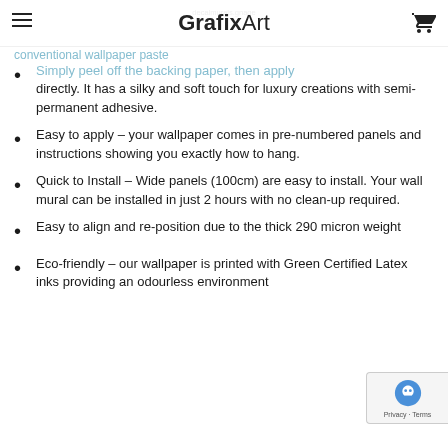conventional wallpaper paste
GrafixArt
Simply peel off the backing paper, then apply directly. It has a silky and soft touch for luxury creations with semi-permanent adhesive.
Easy to apply – your wallpaper comes in pre-numbered panels and instructions showing you exactly how to hang.
Quick to Install – Wide panels (100cm) are easy to install. Your wall mural can be installed in just 2 hours with no clean-up required.
Easy to align and re-position due to the thick 290 micron weight
Eco-friendly – our wallpaper is printed with Green Certified Latex inks providing an odourless environment